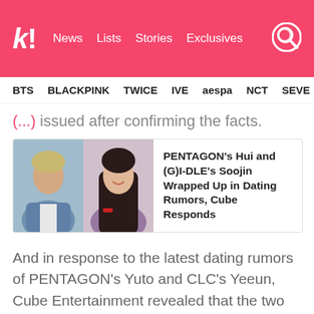k! News Lists Stories Exclusives
BTS BLACKPINK TWICE IVE aespa NCT SEVE
(...) ...issued after confirming the facts.
[Figure (photo): Article card with two photos side by side: a young man in a denim jacket on the left and a young woman smiling on the right, representing PENTAGON's Hui and (G)I-DLE's Soojin]
PENTAGON's Hui and (G)I-DLE's Soojin Wrapped Up in Dating Rumors, Cube Responds
And in response to the latest dating rumors of PENTAGON's Yuto and CLC's Yeeun, Cube Entertainment revealed that the two idols were simply good friends.